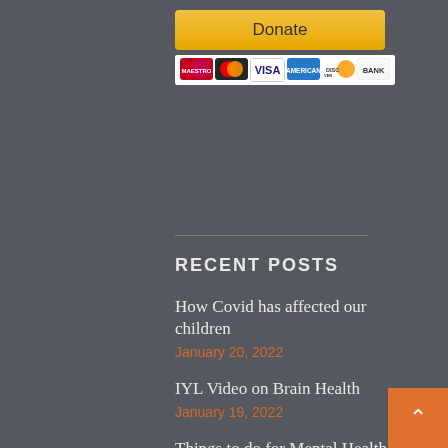[Figure (other): Donate button with PayPal-style yellow background and payment card icons (Maestro, MasterCard, Visa, American Express, Discover, Bank)]
RECENT POSTS
How Covid has affected our children
January 20, 2022
IYL Video on Brain Health
January 19, 2022
Things to do for Mental Health
January 18, 2022